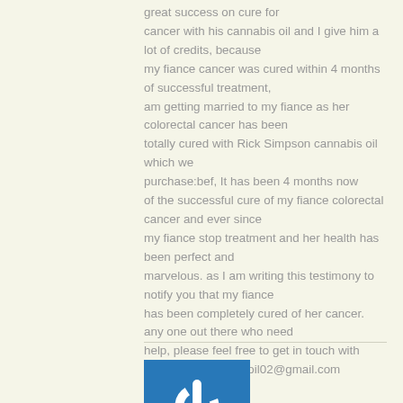great success on cure for cancer with his cannabis oil and I give him a lot of credits, because my fiance cancer was cured within 4 months of successful treatment, am getting married to my fiance as her colorectal cancer has been totally cured with Rick Simpson cannabis oil which we purchase:bef, It has been 4 months now of the successful cure of my fiance colorectal cancer and ever since my fiance stop treatment and her health has been perfect and marvelous. as I am writing this testimony to notify you that my fiance has been completely cured of her cancer. any one out there who need help, please feel free to get in touch with Rickat:rickcannabisoil02@gmail.com
Log in to Reply
[Figure (logo): Blue square icon with white power/on button symbol (circle with vertical line at top)]